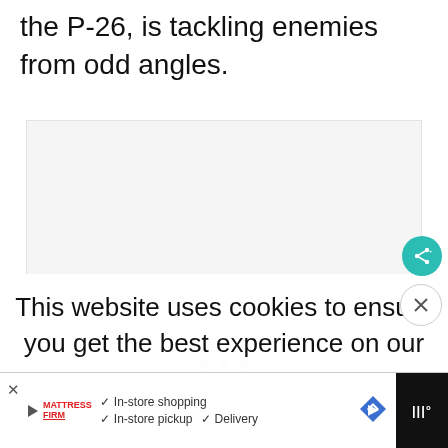the P-26, is tackling enemies from odd angles.
[Figure (other): Empty/loading image placeholder with light gray background and three small gray dots indicating a loading carousel]
This website uses cookies to ensure you get the best experience on our
[Figure (other): Advertisement banner for Mattress Firm showing In-store shopping, In-store pickup, and Delivery options with a blue arrow icon]